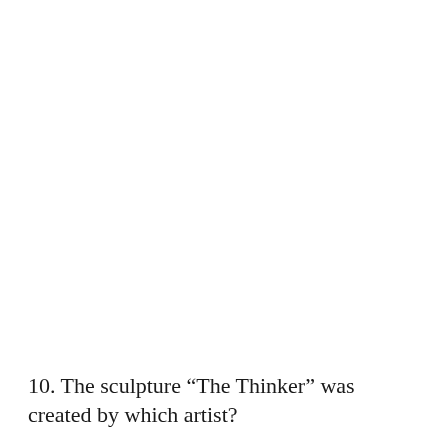10. The sculpture “The Thinker” was created by which artist?